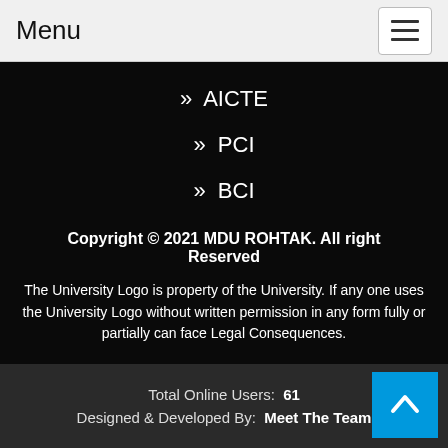Menu
» AICTE
» PCI
» BCI
Copyright © 2021 MDU ROHTAK. All right Reserved
The University Logo is property of the University. If any one uses the University Logo without written permission in any form fully or partially can face Legal Consequences.
Total Online Users: 61
Designed & Developed By: Meet The Team